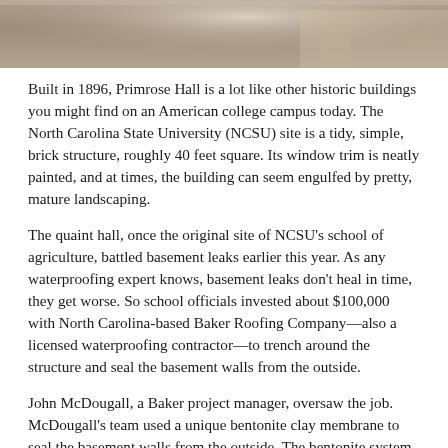[Figure (photo): Partial view of a historic brick building, likely Primrose Hall at NCSU, showing architectural details close up — cropped at top of page.]
Built in 1896, Primrose Hall is a lot like other historic buildings you might find on an American college campus today. The North Carolina State University (NCSU) site is a tidy, simple, brick structure, roughly 40 feet square. Its window trim is neatly painted, and at times, the building can seem engulfed by pretty, mature landscaping.
The quaint hall, once the original site of NCSU's school of agriculture, battled basement leaks earlier this year. As any waterproofing expert knows, basement leaks don't heal in time, they get worse. So school officials invested about $100,000 with North Carolina-based Baker Roofing Company—also a licensed waterproofing contractor—to trench around the structure and seal the basement walls from the outside.
John McDougall, a Baker project manager, oversaw the job. McDougall's team used a unique bentonite clay membrane to seal the basement walls from the outside. The bentonite system, when coming into contact with moisture, creates a hardened gel that's impervious to